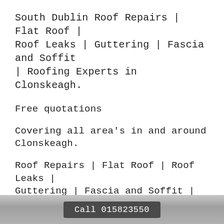South Dublin Roof Repairs | Flat Roof | Roof Leaks | Guttering | Fascia and Soffit | Roofing Experts in Clonskeagh.
Free quotations
Covering all area's in and around Clonskeagh.
Roof Repairs | Flat Roof | Roof Leaks | Guttering | Fascia and Soffit | Roofing Experts
Roofers Dublin City & Guttering - Fascia and Soffits Repair and Replace
Call 015823550